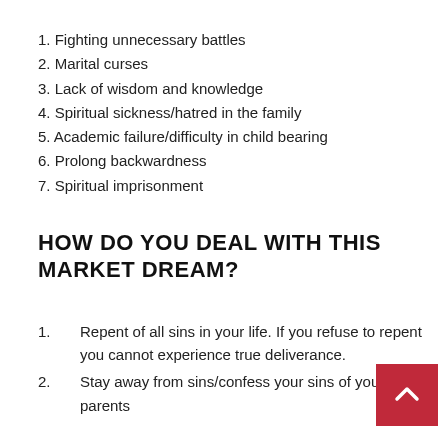1. Fighting unnecessary battles
2. Marital curses
3. Lack of wisdom and knowledge
4. Spiritual sickness/hatred in the family
5. Academic failure/difficulty in child bearing
6. Prolong backwardness
7. Spiritual imprisonment
HOW DO YOU DEAL WITH THIS MARKET DREAM?
1.       Repent of all sins in your life. If you refuse to repent you cannot experience true deliverance.
2.       Stay away from sins/confess your sins of your parents